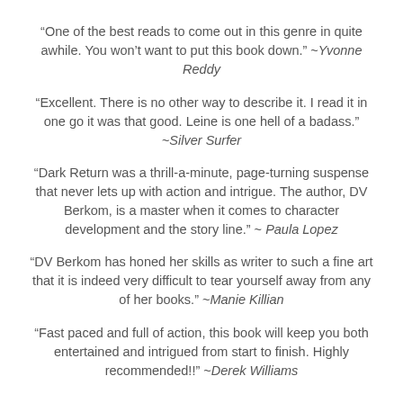“One of the best reads to come out in this genre in quite awhile. You won’t want to put this book down.” ~Yvonne Reddy
“Excellent. There is no other way to describe it. I read it in one go it was that good. Leine is one hell of a badass.” ~Silver Surfer
“Dark Return was a thrill-a-minute, page-turning suspense that never lets up with action and intrigue. The author, DV Berkom, is a master when it comes to character development and the story line.” ~ Paula Lopez
"DV Berkom has honed her skills as writer to such a fine art that it is indeed very difficult to tear yourself away from any of her books." ~Manie Killian
"Fast paced and full of action, this book will keep you both entertained and intrigued from start to finish. Highly recommended!!" ~Derek Williams